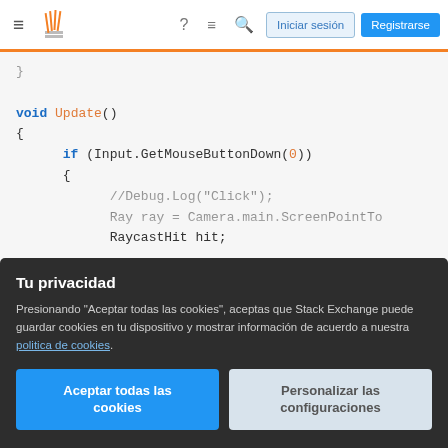[Figure (screenshot): Stack Overflow navigation bar with hamburger menu, logo, help icon, chat icon, search icon, Iniciar sesión button, and Registrarse button]
[Figure (screenshot): Code snippet showing Unity C# code with void Update() method containing mouse button detection using Input.GetMouseButtonDown, Ray and RaycastHit declarations, Debug.Log and Physics.Raycast calls]
Tu privacidad
Presionando "Aceptar todas las cookies", aceptas que Stack Exchange puede guardar cookies en tu dispositivo y mostrar información de acuerdo a nuestra politica de cookies.
Aceptar todas las cookies
Personalizar las configuraciones